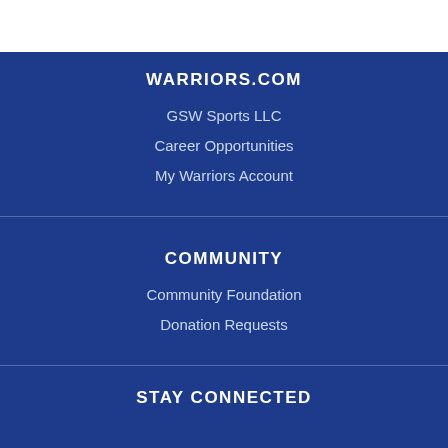WARRIORS.COM
GSW Sports LLC
Career Opportunities
My Warriors Account
COMMUNITY
Community Foundation
Donation Requests
STAY CONNECTED